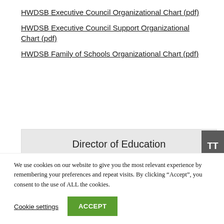HWDSB Executive Council Organizational Chart (pdf)
HWDSB Executive Council Support Organizational Chart (pdf)
HWDSB Family of Schools Organizational Chart (pdf)
Director of Education
We use cookies on our website to give you the most relevant experience by remembering your preferences and repeat visits. By clicking “Accept”, you consent to the use of ALL the cookies.
Cookie settings ACCEPT